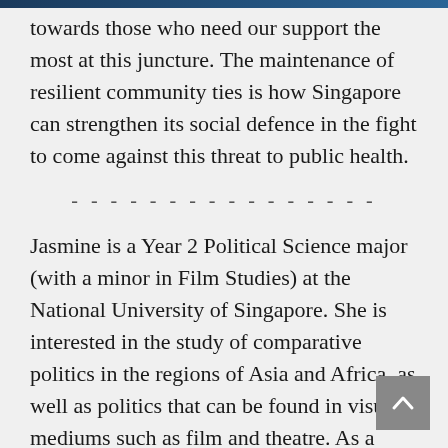towards those who need our support the most at this juncture. The maintenance of resilient community ties is how Singapore can strengthen its social defence in the fight to come against this threat to public health.
- - - - - - - - - - - - - - - -
Jasmine is a Year 2 Political Science major (with a minor in Film Studies) at the National University of Singapore. She is interested in the study of comparative politics in the regions of Asia and Africa, as well as politics that can be found in visual mediums such as film and theatre. As a member of the NUS Students' Political Association Management Committee, Jasmine is also involved in the active